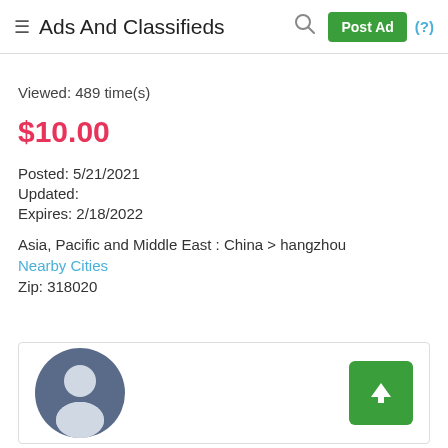Ads And Classifieds
Viewed: 489 time(s)
$10.00
Posted: 5/21/2021
Updated:
Expires: 2/18/2022
Asia, Pacific and Middle East : China > hangzhou
Nearby Cities
Zip: 318020
[Figure (illustration): User profile avatar icon (silhouette of a person) in a dark blue-grey circle, with a green upload button showing an upward arrow on the right side.]